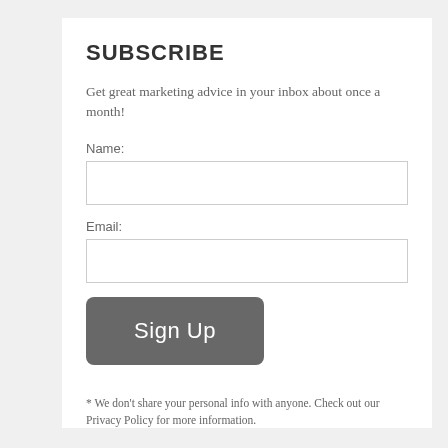SUBSCRIBE
Get great marketing advice in your inbox about once a month!
Name:
Email:
Sign Up
* We don't share your personal info with anyone. Check out our Privacy Policy for more information.